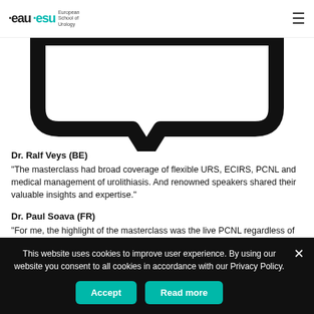EAU ESU European School of Urology
[Figure (illustration): Large speech bubble / chat bubble icon, black outline, bottom portion visible]
Dr. Ralf Veys (BE)
“The masterclass had broad coverage of flexible URS, ECIRS, PCNL and medical management of urolithiasis. And renowned speakers shared their valuable insights and expertise.”
Dr. Paul Soava (FR)
"For me, the highlight of the masterclass was the live PCNL regardless of the technical options employed by various surgeons. It was a great opportunity to see the masters at work
This website uses cookies to improve user experience. By using our website you consent to all cookies in accordance with our Privacy Policy.